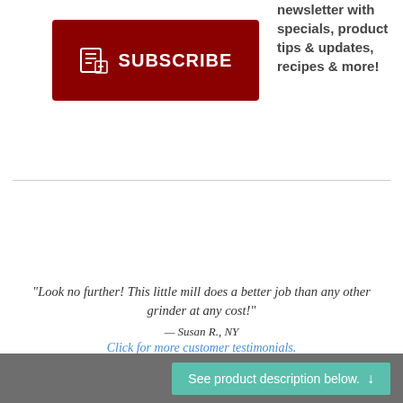[Figure (other): Dark red Subscribe button with newsletter icon and text 'SUBSCRIBE']
newsletter with specials, product tips & updates, recipes & more!
"Look no further! This little mill does a better job than any other grinder at any cost!"
— Susan R., NY
Click for more customer testimonials.
See product description below. ↓